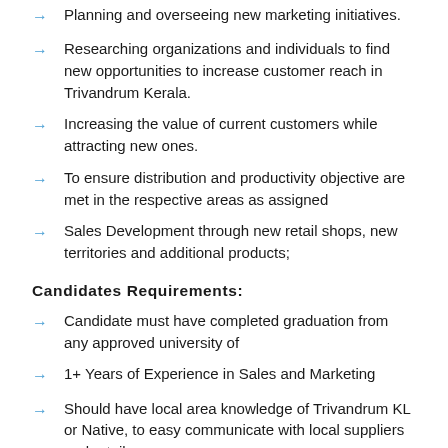Planning and overseeing new marketing initiatives.
Researching organizations and individuals to find new opportunities to increase customer reach in Trivandrum Kerala.
Increasing the value of current customers while attracting new ones.
To ensure distribution and productivity objective are met in the respective areas as assigned
Sales Development through new retail shops, new territories and additional products;
Candidates Requirements:
Candidate must have completed graduation from any approved university of
1+ Years of Experience in Sales and Marketing
Should have local area knowledge of Trivandrum KL or Native, to easy communicate with local suppliers and retailers.
Age – 21 to 38 Years